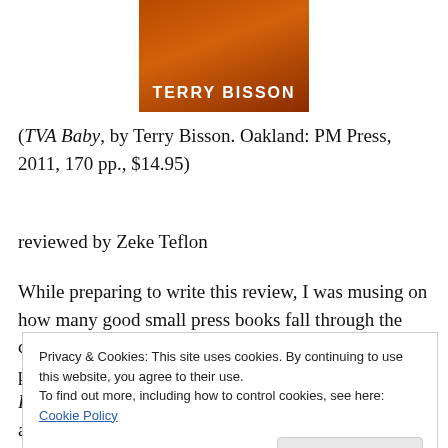[Figure (illustration): Book cover showing orange/red background with author name 'TERRY BISSON' in large white capital letters]
(TVA Baby, by Terry Bisson. Oakland: PM Press, 2011, 170 pp., $14.95)
reviewed by Zeke Teflon
While preparing to write this review, I was musing on how many good small press books fall through the cracks, and how many execrable books from major publishers sell well. (Don't worry, we'll get to TVA Baby eventually.)
Privacy & Cookies: This site uses cookies. By continuing to use this website, you agree to their use. To find out more, including how to control cookies, see here: Cookie Policy
about this.) The book sold tens of thousands of copies and